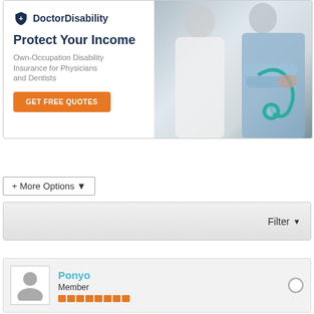[Figure (illustration): DoctorDisability advertisement banner. Left side: DoctorDisability logo with shield icon, headline 'Protect Your Income', subtext 'Own-Occupation Disability Insurance for Physicians and Dentists', orange 'GET FREE QUOTES' button. Right side: photo of two medical professionals in white coat and blue scrubs holding stethoscope.]
+ More Options ▾
Filter ▼
Ponyo
Member